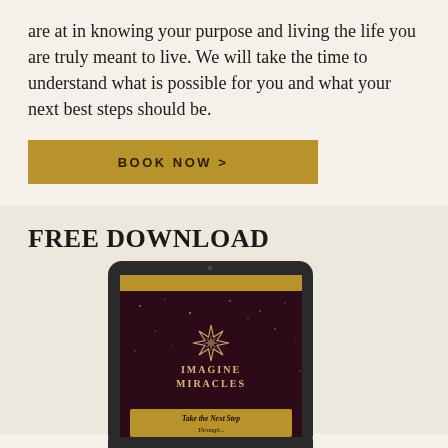are at in knowing your purpose and living the life you are truly meant to live. We will take the time to understand what is possible for you and what your next best steps should be.
[Figure (other): Gold/amber colored button with text 'BOOK NOW >' in uppercase bold letters]
FREE DOWNLOAD
[Figure (photo): A tablet device showing the cover of 'Imagine Miracles' book/guide. The cover has a dark purple/maroon starry background with a star/compass logo, the text 'IMAGINE MIRACLES' in gold, and a gold banner at the bottom reading 'Take the Next Step']